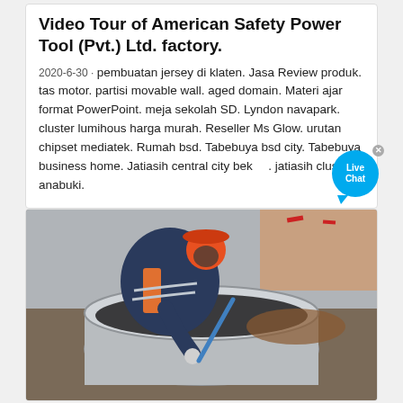Video Tour of American Safety Power Tool (Pvt.) Ltd. factory.
2020-6-30 · pembuatan jersey di klaten. Jasa Review produk. tas motor. partisi movable wall. aged domain. Materi ajar format PowerPoint. meja sekolah SD. Lyndon navapark. cluster lumihous harga murah. Reseller Ms Glow. urutan chipset mediatek. Rumah bsd. Tabebuya bsd city. Tabebuya business home. Jatiasih central city bekasi. jatiasih cluster anabuki.
[Figure (photo): A worker wearing an orange hard hat, blue jacket, and orange vest leans over a large industrial circular metal container, using a blue rod or tool inside it. Industrial setting.]